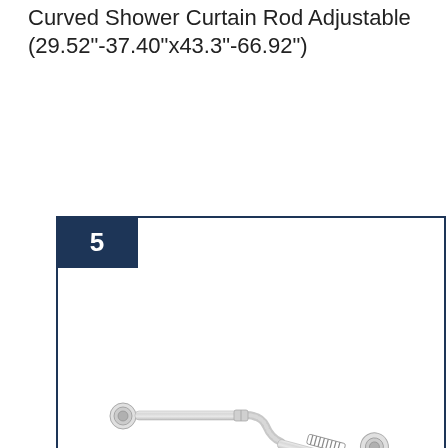Curved Shower Curtain Rod Adjustable (29.52"-37.40"x43.3"-66.92")
[Figure (photo): Product image of a chrome L-shaped curved shower curtain rod with wall mount flanges and tension spring mechanism, displayed inside a dark navy bordered frame with a number 5 badge in the top-left corner.]